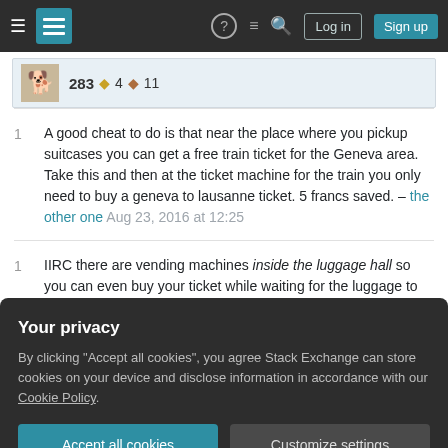Stack Exchange navigation bar with hamburger menu, logo, help, chat, search icons, Log in and Sign up buttons
283 ◆4 ◆11
1  A good cheat to do is that near the place where you pickup suitcases you can get a free train ticket for the Geneva area. Take this and then at the ticket machine for the train you only need to buy a geneva to lausanne ticket. 5 francs saved. – the other one Aug 23, 2016 at 12:25
1  IIRC there are vending machines inside the luggage hall so you can even buy your ticket while waiting for the luggage to be offloaded. – Relaxed Aug 23, 2016
Your privacy
By clicking "Accept all cookies", you agree Stack Exchange can store cookies on your device and disclose information in accordance with our Cookie Policy.
There are four trains per hour from Genève...